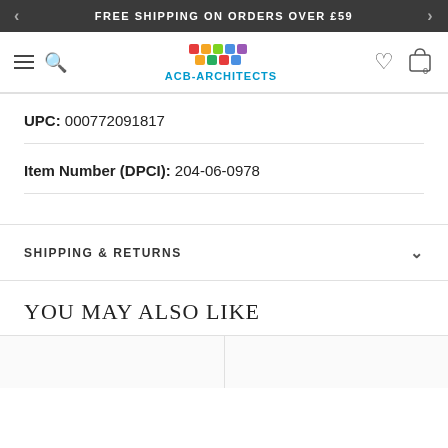FREE SHIPPING ON ORDERS OVER £59
[Figure (logo): ACB-ARCHITECTS logo with colorful puzzle-piece graphic above text]
UPC: 000772091817
Item Number (DPCI): 204-06-0978
SHIPPING & RETURNS
YOU MAY ALSO LIKE